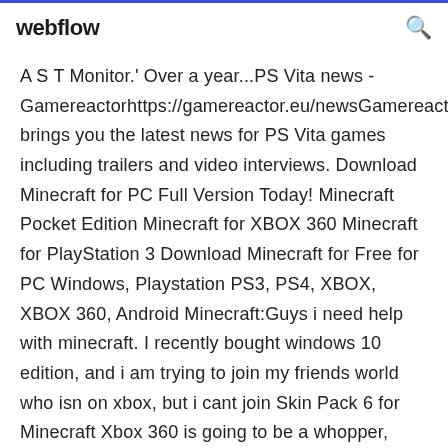webflow
A S T Monitor.' Over a year...PS Vita news - Gamereactorhttps://gamereactor.eu/newsGamereactor brings you the latest news for PS Vita games including trailers and video interviews. Download Minecraft for PC Full Version Today! Minecraft Pocket Edition Minecraft for XBOX 360 Minecraft for PlayStation 3 Download Minecraft for Free for PC Windows, Playstation PS3, PS4, XBOX, XBOX 360, Android Minecraft:Guys i need help with minecraft. I recently bought windows 10 edition, and i am trying to join my friends world who isn on xbox, but i cant join Skin Pack 6 for Minecraft Xbox 360 is going to be a whopper, what with Mirror's Edge, Killer Instinct and Trials skins to